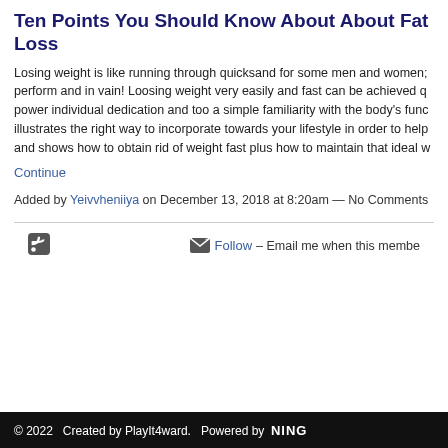Ten Points You Should Know About About Fat Loss
Losing weight is like running through quicksand for some men and women; perform and in vain! Loosing weight very easily and fast can be achieved q power individual dedication and too a simple familiarity with the body's func illustrates the right way to incorporate towards your lifestyle in order to help and shows how to obtain rid of weight fast plus how to maintain that ideal w
Continue
Added by Yeivvheniiya on December 13, 2018 at 8:20am — No Comments
© 2022   Created by PlayIt4ward.   Powered by NING